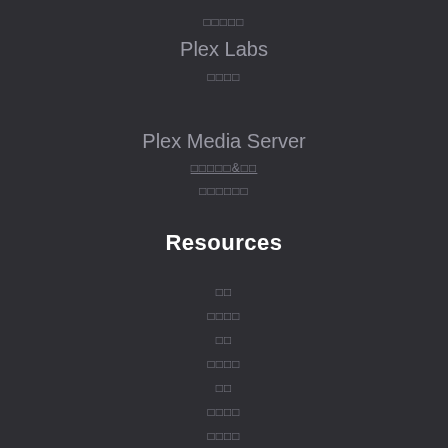□□□□□
Plex Labs
□□□□
Plex Media Server
□□□□□&□□
□□□□□□
Resources
□□
□□□□
□□
□□□□
□□
□□□□
□□□□